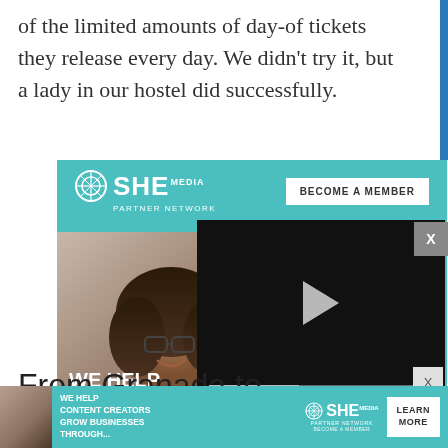of the limited amounts of day-of tickets they release every day. We didn't try it, but a lady in our hostel did successfully.
[Figure (screenshot): SHE Media Partner Network advertisement with 'BECOME A MEMBER' button, photo of a smiling woman, and text 'WE HELP GROW BU...' with a video player overlay showing 13:52 timestamp and playback controls, and an X close button]
From Granada to
[Figure (screenshot): Bottom banner advertisement: SHE Media Partner Network - 'WE HELP CONTENT CREATORS GROW BUSINESSES THROUGH...' with LEARN MORE button and BECOME A MEMBER sub-text]